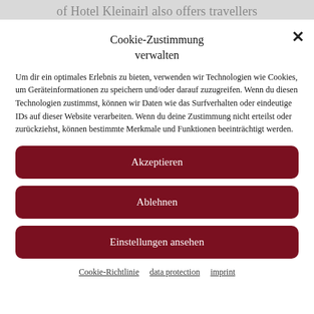of Hotel Kleinairl also offers travellers
Cookie-Zustimmung verwalten
Um dir ein optimales Erlebnis zu bieten, verwenden wir Technologien wie Cookies, um Geräteinformationen zu speichern und/oder darauf zuzugreifen. Wenn du diesen Technologien zustimmst, können wir Daten wie das Surfverhalten oder eindeutige IDs auf dieser Website verarbeiten. Wenn du deine Zustimmung nicht erteilst oder zurückziehst, können bestimmte Merkmale und Funktionen beeinträchtigt werden.
Akzeptieren
Ablehnen
Einstellungen ansehen
Cookie-Richtlinie   data protection   imprint